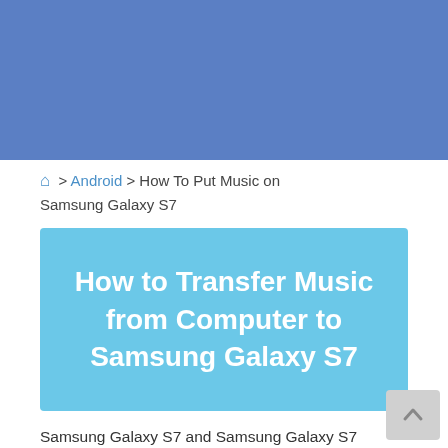How to Transfer Music from PC to Samsung Galaxy S7
[Figure (screenshot): Download button with Windows logo icon, red/coral background, showing 'Download Win Version']
🏠 > Android > How To Put Music on Samsung Galaxy S7
[Figure (illustration): Blue hero image with text: How to Transfer Music from Computer to Samsung Galaxy S7]
Samsung Galaxy S7 and Samsung Galaxy S7 smartphones manufactured and marketed b Electronics. The S7 series is a successor to S6 Edge and S6 Edge+, and was officially un 2016 during a Samsung press conference at Congress, with a European and North Ameri